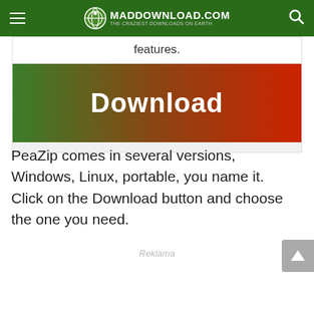MADDOWNLOAD.COM — THE CRAZIEST DOWNLOADS ON EARTH
features.
[Figure (other): Large Download button with green-to-red gradient background and white bold 'Download' text]
PeaZip comes in several versions, Windows, Linux, portable, you name it. Click on the Download button and choose the one you need.
Reklama